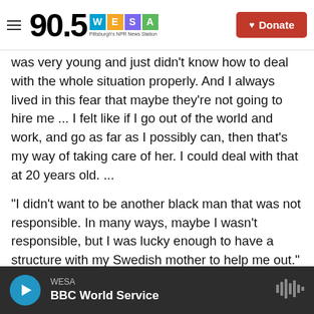90.5 WESA Pittsburgh's NPR News Station | Donate
was very young and just didn't know how to deal with the whole situation properly. And I always lived in this fear that maybe they're not going to hire me ... I felt like if I go out of the world and work, and go as far as I possibly can, then that's my way of taking care of her. I could deal with that at 20 years old. ...
"I didn't want to be another black man that was not responsible. In many ways, maybe I wasn't responsible, but I was lucky enough to have a structure with my Swedish mother to help me out."
On meeting his father in Ethiopia
WESA | BBC World Service